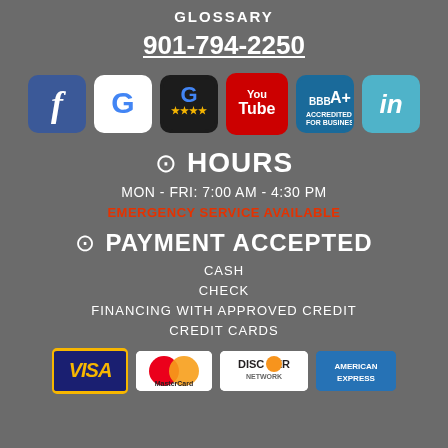GLOSSARY
901-794-2250
[Figure (infographic): Row of social media and review icons: Facebook, Google, Google Reviews (4 stars), YouTube, BBB A+, LinkedIn]
HOURS
MON - FRI: 7:00 AM - 4:30 PM
EMERGENCY SERVICE AVAILABLE
PAYMENT ACCEPTED
CASH
CHECK
FINANCING WITH APPROVED CREDIT
CREDIT CARDS
[Figure (infographic): Credit card logos: VISA, MasterCard, Discover Network, American Express]